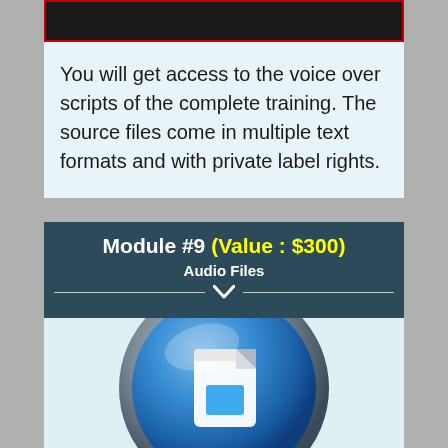[Figure (other): Black rectangle with red border at the top of the card]
You will get access to the voice over scripts of the complete training. The source files come in multiple text formats and with private label rights.
Module #9 (Value : $300) Audio Files
[Figure (illustration): Blue circular music/audio icon button with a white musical note symbol in the center]